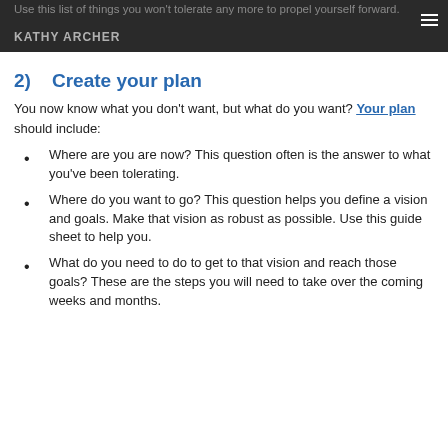Use this list of things you won't tolerate any more to propel yourself forward. KATHY ARCHER
2)   Create your plan
You now know what you don't want, but what do you want? Your plan should include:
Where are you are now? This question often is the answer to what you've been tolerating.
Where do you want to go? This question helps you define a vision and goals. Make that vision as robust as possible. Use this guide sheet to help you.
What do you need to do to get to that vision and reach those goals? These are the steps you will need to take over the coming weeks and months.